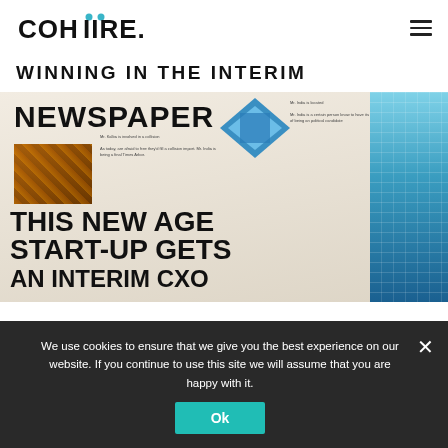COHIIRE
WINNING IN THE INTERIM
[Figure (photo): A newspaper photographed close-up showing large bold headlines reading NEWSPAPER at top and THIS NEW AGE START-UP GETS AN INTERIM CXO below, with small article text and images including an orange/yellow photo on left and a blue glass building on right.]
We use cookies to ensure that we give you the best experience on our website. If you continue to use this site we will assume that you are happy with it.